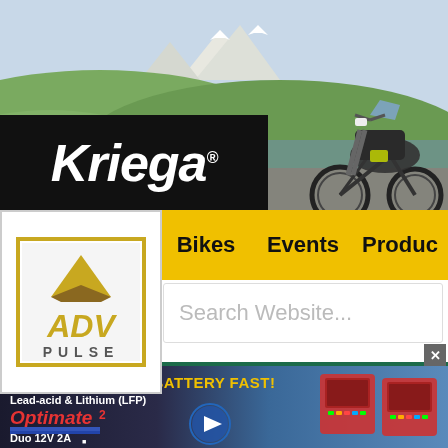[Figure (screenshot): Hero banner with Kriega brand advertisement showing adventure motorcycle on mountain road background]
[Figure (logo): Kriega brand logo in white italic text on black background]
[Figure (logo): ADV Pulse logo - adventure motorcycle media brand with mountain/road graphic in gold and brown]
Bikes
Events
Products
Search Website...
K60 Ranger
[Figure (photo): Advertisement banner for Optimate 2 Duo 12V 2A battery charger. Text: CHARGE ANY 12V BATTERY FAST! Lead-acid & Lithium (LFP). Shows battery charger products.]